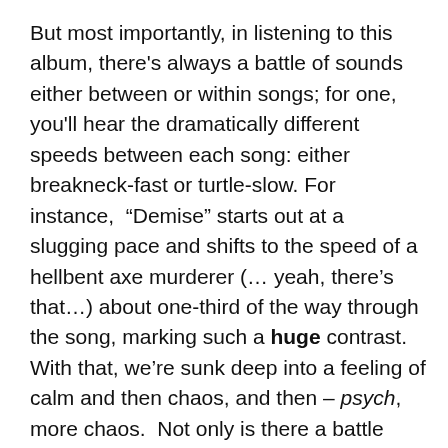But most importantly, in listening to this album, there's always a battle of sounds either between or within songs; for one, you'll hear the dramatically different speeds between each song: either breakneck-fast or turtle-slow. For instance, “Demise” starts out at a slugging pace and shifts to the speed of a hellbent axe murderer (… yeah, there’s that…) about one-third of the way through the song, marking such a huge contrast. With that, we’re sunk deep into a feeling of calm and then chaos, and then – psych, more chaos. Not only is there a battle between speeds, but there’s also so many songs that point to an intense confrontation between machines and humans, and it’s a hell of a ride. On that note, there’s even some motif of life versus death. Seriously—just listen to the god-like vocals (no literally; like Zeus or Poseidon or some shit) two-thirds of the way through “Demise”, and then listen to